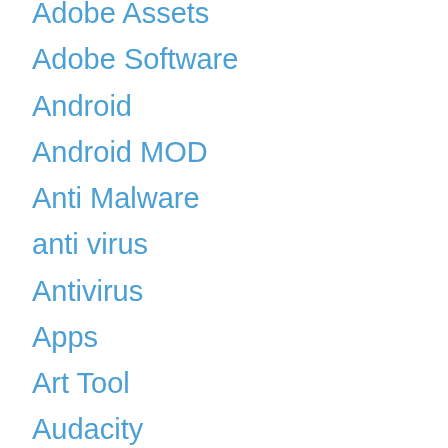Adobe Assets
Adobe Software
Android
Android MOD
Anti Malware
anti virus
Antivirus
Apps
Art Tool
Audacity
Audio Converter
Backup
Backup and Recovery
Backup4all